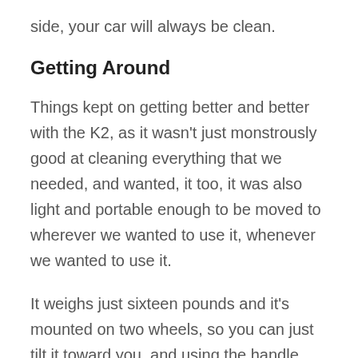side, your car will always be clean.
Getting Around
Things kept on getting better and better with the K2, as it wasn't just monstrously good at cleaning everything that we needed, and wanted, it too, it was also light and portable enough to be moved to wherever we wanted to use it, whenever we wanted to use it.
It weighs just sixteen pounds and it's mounted on two wheels, so you can just tilt it toward you, and using the handle, easily pull it to, and position it in, any place that needs to be